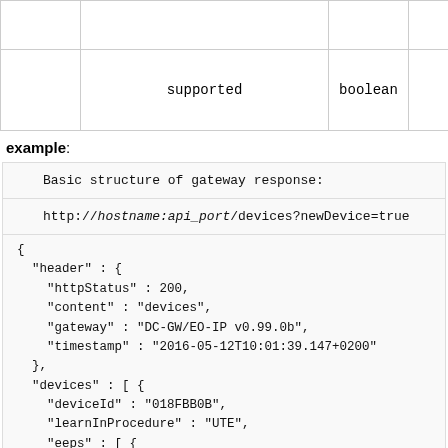|  |  | boolean |  |
| --- | --- | --- | --- |
|  |  |  |  |
|  | supported | boolean |  |
example:
Basic structure of gateway response:
http://hostname:api_port/devices?newDevice=true
{
  "header" : {
    "httpStatus" : 200,
    "content" : "devices",
    "gateway" : "DC-GW/EO-IP v0.99.0b",
    "timestamp" : "2016-05-12T10:01:39.147+0200"
  },
  "devices" : [ {
    "deviceId" : "018FBB0B",
    "learnInProcedure" : "UTE",
    "eeps" : [ {
      "eep" : "D2-01-09",
      "version" : 1.0,
      "direction" : "both"